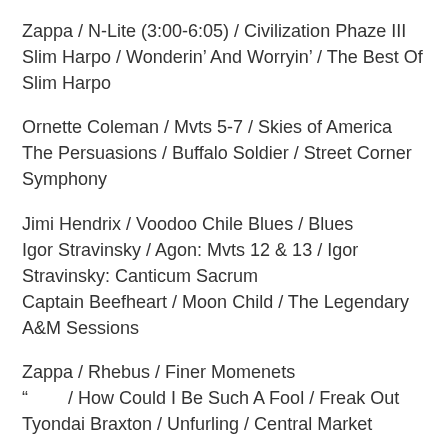Zappa / N-Lite (3:00-6:05) / Civilization Phaze III
Slim Harpo / Wonderin' And Worryin' / The Best Of Slim Harpo
Ornette Coleman / Mvts 5-7 / Skies of America
The Persuasions / Buffalo Soldier / Street Corner Symphony
Jimi Hendrix / Voodoo Chile Blues / Blues
Igor Stravinsky / Agon: Mvts 12 & 13 / Igor Stravinsky: Canticum Sacrum
Captain Beefheart / Moon Child / The Legendary A&M Sessions
Zappa / Rhebus / Finer Momenets
“        / How Could I Be Such A Fool / Freak Out
Tyondai Braxton / Unfurling / Central Market
Zappa / Valley Girl / Ship Arriving Too Late To Save The